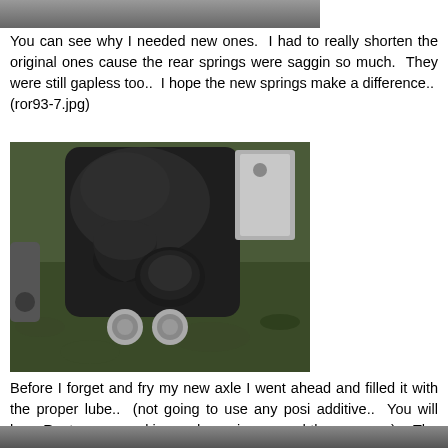[Figure (photo): Partial view of a vehicle part, cropped at top of page]
You can see why I needed new ones.  I had to really shorten the original ones cause the rear springs were saggin so much.  They were still gapless too..  I hope the new springs make a difference..  (ror93-7.jpg)
[Figure (photo): Close-up photograph of vehicle rear axle hardware including cast iron bracket, rubber bushings, and bolts lying on grass]
Before I forget and fry my new axle I went ahead and filled it with the proper lube..  (not going to use any posi additive..  You will hear Rustpuppy creaking and popping around the corners..)    The 3/8" drive breaker bar makes a nice plug wrench.  (ror93-8.jpg)
[Figure (photo): Partial view of another vehicle part, cropped at bottom of page]